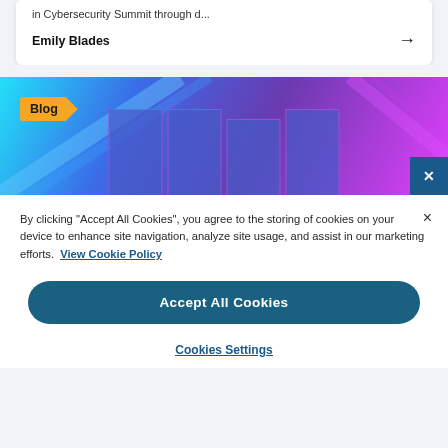in Cybersecurity Summit through d...
Emily Blades →
[Figure (photo): A neon-lit cybersecurity themed image with blue and purple light streaks, containing a 'Blog' badge/label in orange, and blue semi-transparent block shapes in the foreground. A dark blue box with an X is visible in the bottom right corner.]
By clicking "Accept All Cookies", you agree to the storing of cookies on your device to enhance site navigation, analyze site usage, and assist in our marketing efforts. View Cookie Policy
Accept All Cookies
Cookies Settings